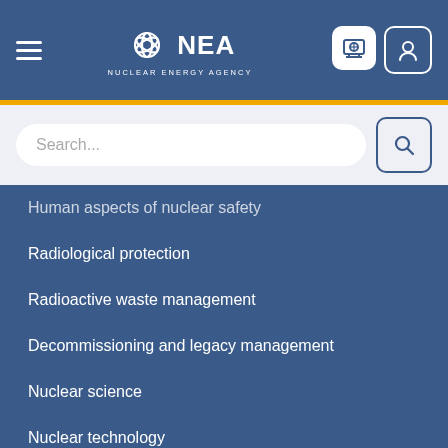[Figure (logo): NEA Nuclear Energy Agency logo with navigation header bar, hamburger menu, globe icon, and user icon on blue background]
Human aspects of nuclear safety
Radiological protection
Radioactive waste management
Decommissioning and legacy management
Nuclear science
Nuclear technology
Nuclear economics
Nuclear law
NEWS AND RESOURCES
News and events
Publications and reports